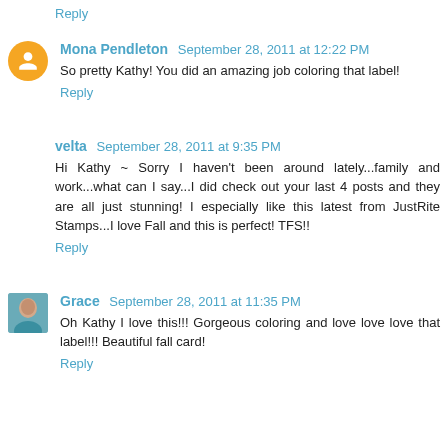Reply
Mona Pendleton  September 28, 2011 at 12:22 PM
So pretty Kathy! You did an amazing job coloring that label!
Reply
velta  September 28, 2011 at 9:35 PM
Hi Kathy ~ Sorry I haven't been around lately...family and work...what can I say...I did check out your last 4 posts and they are all just stunning! I especially like this latest from JustRite Stamps...I love Fall and this is perfect! TFS!!
Reply
Grace  September 28, 2011 at 11:35 PM
Oh Kathy I love this!!! Gorgeous coloring and love love love that label!!! Beautiful fall card!
Reply